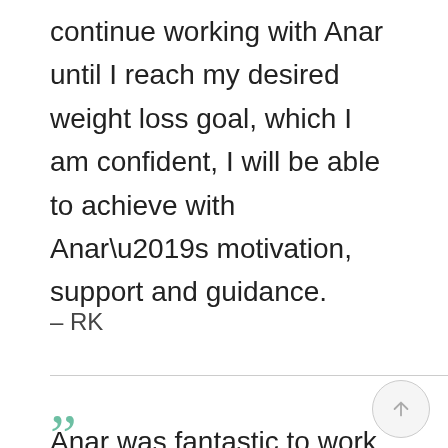continue working with Anar until I reach my desired weight loss goal, which I am confident, I will be able to achieve with Anar’s motivation, support and guidance.
– RK
“”
Anar was fantastic to work with. She...